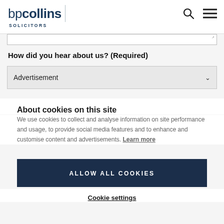[Figure (logo): bpcollins Solicitors logo with search and hamburger menu icons in the header]
[Figure (screenshot): Partial text input field at top]
How did you hear about us? (Required)
Advertisement
About cookies on this site
We use cookies to collect and analyse information on site performance and usage, to provide social media features and to enhance and customise content and advertisements. Learn more
ALLOW ALL COOKIES
Cookie settings